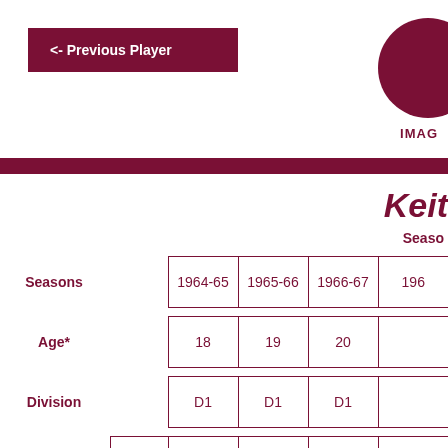<- Previous Player
[Figure (photo): Circular player photo placeholder partially visible at top right]
IMAGE
Keit
Seaso
|  |  | 1964-65 | 1965-66 | 1966-67 | 196... |
| --- | --- | --- | --- | --- | --- |
| Seasons |  | 1964-65 | 1965-66 | 1966-67 | 196 |
| Age* |  | 18 | 19 | 20 |  |
| Division |  | D1 | D1 | D1 |  |
| Appearances | 143 | 8 | 6 | 33 |  |
| Starts | 134 | 8 | 5 | 32 |  |